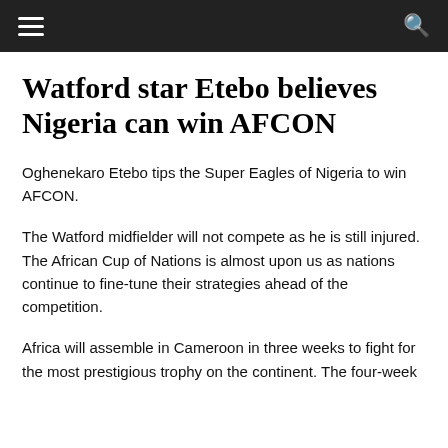Watford star Etebo believes Nigeria can win AFCON
Oghenekaro Etebo tips the Super Eagles of Nigeria to win AFCON.
The Watford midfielder will not compete as he is still injured. The African Cup of Nations is almost upon us as nations continue to fine-tune their strategies ahead of the competition.
Africa will assemble in Cameroon in three weeks to fight for the most prestigious trophy on the continent. The four-week